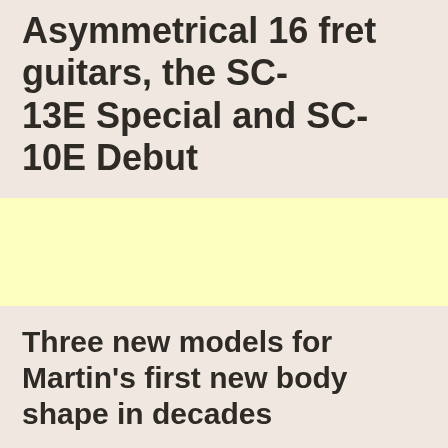Asymmetrical 16 fret guitars, the SC-13E Special and SC-10E Debut
[Figure (other): Yellow advertisement banner block]
Three new models for Martin's first new body shape in decades
In a “virtual preview” later today, C. F. Martin & Co. CEO Thomas Ripsam and Vice President of Product Management Fred Greene will unveil the first new Martin models for 2022: